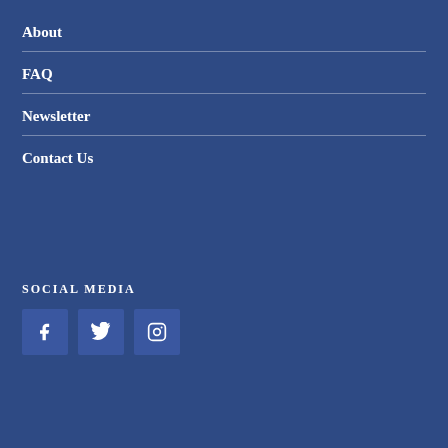About
FAQ
Newsletter
Contact Us
SOCIAL MEDIA
[Figure (other): Three social media icon buttons: Facebook (f), Twitter (bird), Instagram (camera)]